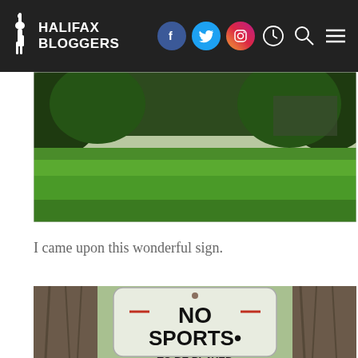HALIFAX BLOGGERS
[Figure (photo): Park scene with green grass lawn and trees in background]
I came upon this wonderful sign.
[Figure (photo): Sign nailed between two trees reading: NO SPORTS TO BE PLAYED in...]